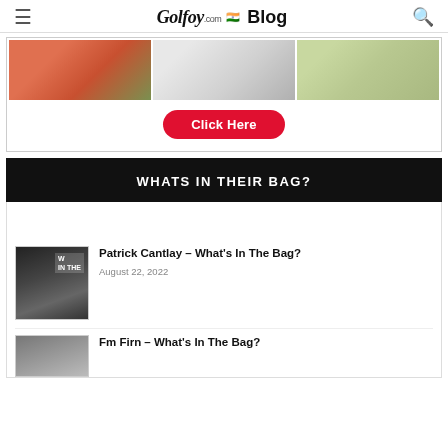Golfoy.com Blog
[Figure (photo): Three cropped photos of golfers in pink, white, and light-colored shirts with a red Click Here button below]
WHATS IN THEIR BAG?
[Figure (photo): Thumbnail photo of Patrick Cantlay with 'W IN THE' text sign in background]
Patrick Cantlay – What's In The Bag?
August 22, 2022
Fm Firn – What's In The Bag?